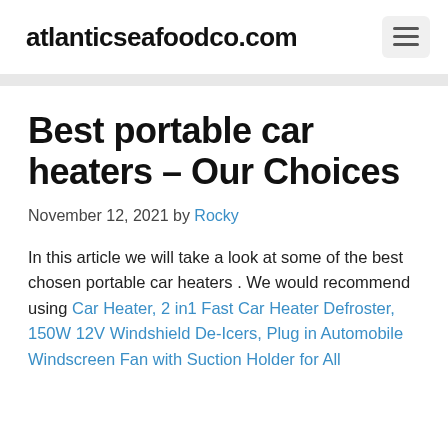atlanticseafoodco.com
Best portable car heaters – Our Choices
November 12, 2021 by Rocky
In this article we will take a look at some of the best chosen portable car heaters . We would recommend using Car Heater, 2 in1 Fast Car Heater Defroster, 150W 12V Windshield De-Icers, Plug in Automobile Windscreen Fan with Suction Holder for All